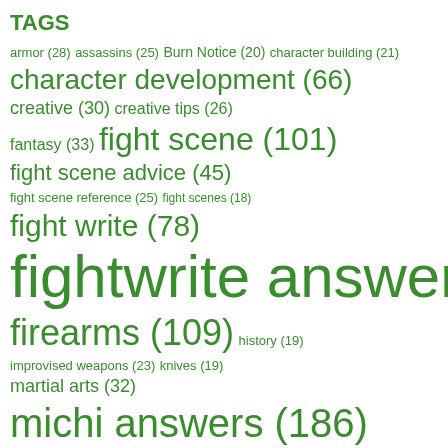TAGS
armor (28) assassins (25) Burn Notice (20) character building (21) character development (66) creative (30) creative tips (26) fantasy (33) fight scene (101) fight scene advice (45) fight scene reference (25) fight scenes (18) fight write (78) fightwrite answers (1145) firearms (109) history (19) improvised weapons (23) knives (19) martial arts (32) michi answers (186) obsidianmichi answers (122) publishing (22) quotes (38) Self-Defense (31) spies (19) Starke answers (885) Starke is not a real doctor (88) starke is still not a doctor (19) swords (63) the only unfair fight (17) training (33) urban fantasy (27) weapons (18) worldbuilding (18) world building (30) writing (72) writing advice (1042) writing assassins (23) writing fantasy (18) writing fight scenes (36) writing reference (1143) writing spies (18) writing tips (496) writing training (20) writing violence (40)